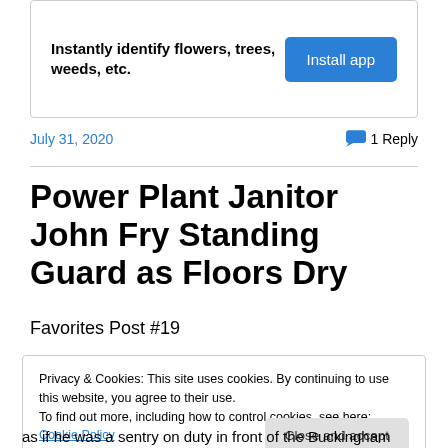[Figure (other): Advertisement banner: 'Instantly identify flowers, trees, weeds, etc.' with 'Install app' blue button]
July 31, 2020
1 Reply
Power Plant Janitor John Fry Standing Guard as Floors Dry
Favorites Post #19
Privacy & Cookies: This site uses cookies. By continuing to use this website, you agree to their use.
To find out more, including how to control cookies, see here: Cookie Policy
Close and accept
as if he was a sentry on duty in front of the Buckingham